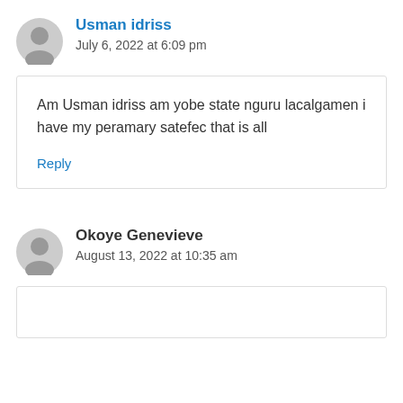Usman idriss
July 6, 2022 at 6:09 pm
Am Usman idriss am yobe state nguru lacalgamen i have my peramary satefec that is all
Reply
Okoye Genevieve
August 13, 2022 at 10:35 am